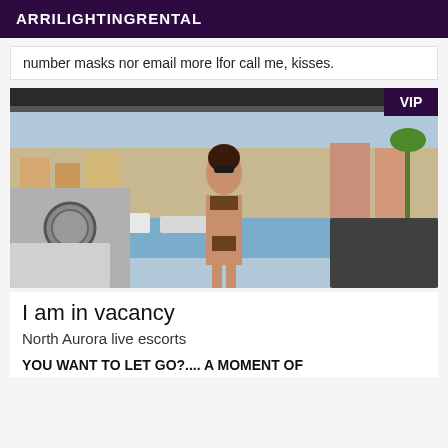ARRILIGHTINGRENTAL
number masks nor email more lfor call me, kisses.
[Figure (photo): Woman in bikini posing on a boat with a marina in the background. VIP badge in top right corner.]
I am in vacancy
North Aurora live escorts
YOU WANT TO LET GO?.... A MOMENT OF